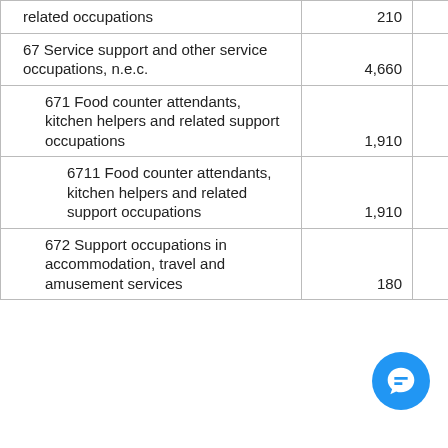| Occupation | Col1 | Col2 |
| --- | --- | --- |
| related occupations | 210 | 15,242 |
| 67 Service support and other service occupations, n.e.c. | 4,660 | 15,382 |
| 671 Food counter attendants, kitchen helpers and related support occupations | 1,910 | 10,946 |
| 6711 Food counter attendants, kitchen helpers and related support occupations | 1,910 | 10,946 |
| 672 Support occupations in accommodation, travel and amusement services | 180 | 8,932 |